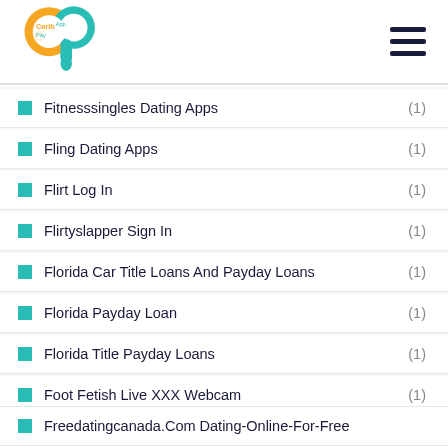Carib Pay App
Fitnesssingles Dating Apps (1)
Fling Dating Apps (1)
Flirt Log In (1)
Flirtyslapper Sign In (1)
Florida Car Title Loans And Payday Loans (1)
Florida Payday Loan (1)
Florida Title Payday Loans (1)
Foot Fetish Live XXX Webcam (1)
Freakonomics Payday Loans (1)
Free Payday Loans (2)
Freedatingcanada.Com Dating-Online-For-Free